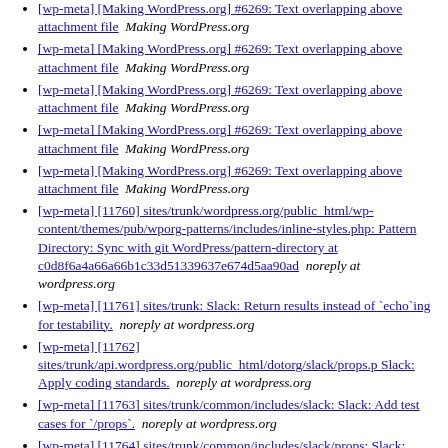[wp-meta] [Making WordPress.org] #6269: Text overlapping above attachment file  Making WordPress.org
[wp-meta] [Making WordPress.org] #6269: Text overlapping above attachment file  Making WordPress.org
[wp-meta] [Making WordPress.org] #6269: Text overlapping above attachment file  Making WordPress.org
[wp-meta] [Making WordPress.org] #6269: Text overlapping above attachment file  Making WordPress.org
[wp-meta] [Making WordPress.org] #6269: Text overlapping above attachment file  Making WordPress.org
[wp-meta] [11760] sites/trunk/wordpress.org/public_html/wp-content/themes/pub/wporg-patterns/includes/inline-styles.php: Pattern Directory: Sync with git WordPress/pattern-directory at c0d8f6a4a66a66b1c33d51339637e674d5aa90ad  noreply at wordpress.org
[wp-meta] [11761] sites/trunk: Slack: Return results instead of `echo`ing for testability.  noreply at wordpress.org
[wp-meta] [11762] sites/trunk/api.wordpress.org/public_html/dotorg/slack/props.p Slack: Apply coding standards.  noreply at wordpress.org
[wp-meta] [11763] sites/trunk/common/includes/slack: Slack: Add test cases for `/props`.  noreply at wordpress.org
[wp-meta] [11764] sites/trunk/common/includes/slack/props: Slack: Move old test into new `tests` folder.  noreply at